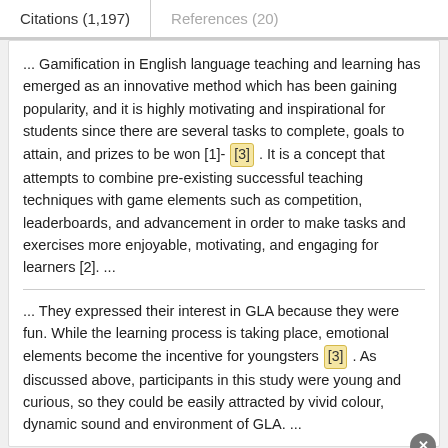Citations (1,197)    References (20)
... Gamification in English language teaching and learning has emerged as an innovative method which has been gaining popularity, and it is highly motivating and inspirational for students since there are several tasks to complete, goals to attain, and prizes to be won [1]- [3] . It is a concept that attempts to combine pre-existing successful teaching techniques with game elements such as competition, leaderboards, and advancement in order to make tasks and exercises more enjoyable, motivating, and engaging for learners [2]. ...
... They expressed their interest in GLA because they were fun. While the learning process is taking place, emotional elements become the incentive for youngsters [3] . As discussed above, participants in this study were young and curious, so they could be easily attracted by vivid colour, dynamic sound and environment of GLA. ...
Advertisement
[Figure (other): ThermoFisher Scientific advertisement banner with red logo on left and 'DID YOU KNOW...' text on dark blue background]